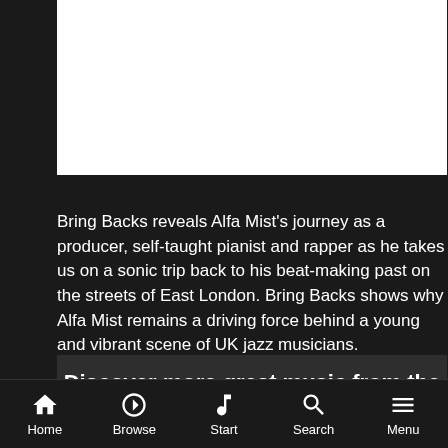[Figure (photo): White rectangular image area at top of page]
Bring Backs reveals Alfa Mist's journey as a producer, self-taught pianist and rapper as he takes us on a sonic trip back to his beat-making past on the streets of East London. Bring Backs shows why Alfa Mist remains a driving force behind a young and vibrant scene of UK jazz musicians.
Discover more great music from the
Home  Browse  Start  Search  Menu